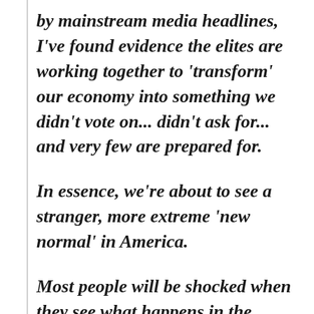by mainstream media headlines, I've found evidence the elites are working together to 'transform' our economy into something we didn't vote on... didn't ask for... and very few are prepared for.
In essence, we're about to see a stranger, more extreme 'new normal' in America.
Most people will be shocked when they see what happens in the months